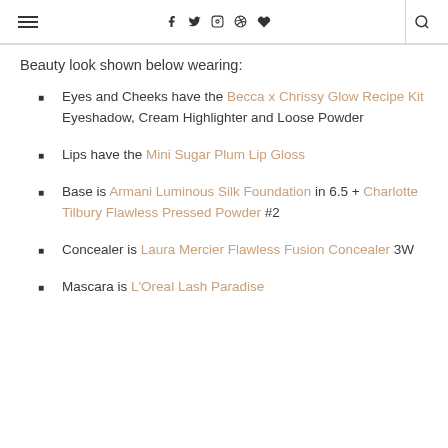≡  f  𝕏  ○  ⊕  ♥  |  🔍
Beauty look shown below wearing:
Eyes and Cheeks have the Becca x Chrissy Glow Recipe Kit Eyeshadow, Cream Highlighter and Loose Powder
Lips have the Mini Sugar Plum Lip Gloss
Base is Armani Luminous Silk Foundation in 6.5 + Charlotte Tilbury Flawless Pressed Powder #2
Concealer is Laura Mercier Flawless Fusion Concealer 3W
Mascara is L'Oreal Lash Paradise